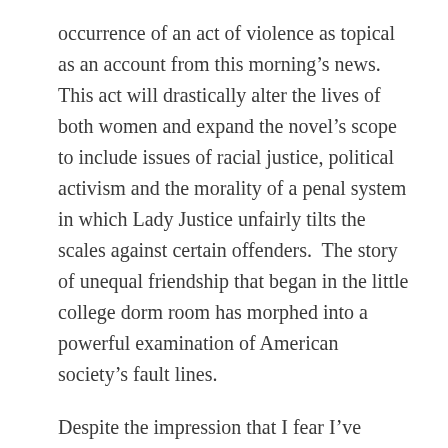occurrence of an act of violence as topical as an account from this morning's news.  This act will drastically alter the lives of both women and expand the novel's scope to include issues of racial justice, political activism and the morality of a penal system in which Lady Justice unfairly tilts the scales against certain offenders.  The story of unequal friendship that began in the little college dorm room has morphed into a powerful examination of American society's fault lines.
Despite the impression that I fear I've conveyed, Last is far from being an unrelentingly grim novel.  George is a wry and cynical narrator with few illusions about her world, but who nevertheless views life with a sense of humor and a surprising amount of charity.  I particularly enjoyed her stint at Visage, a woman's magazine similar to the ones I devoured at a certain period in my life, replete with